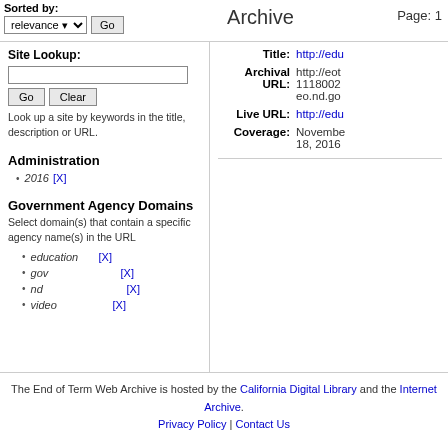Sorted by: relevance [Go]   Archive   Page: 1
Site Lookup:
Look up a site by keywords in the title, description or URL.
Administration
2016 [X]
Government Agency Domains
Select domain(s) that contain a specific agency name(s) in the URL
education [X]
gov [X]
nd [X]
video [X]
Title: http://edu... Archival URL: http://eot1118002eo.nd.go... Live URL: http://edu... Coverage: November 18, 2016
The End of Term Web Archive is hosted by the California Digital Library and the Internet Archive. Privacy Policy | Contact Us